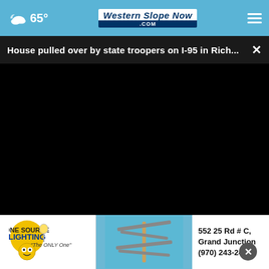65° Western Slope Now .com
House pulled over by state troopers on I-95 in Rich... ×
[Figure (screenshot): Black video player area with play button, mute button, and fullscreen button controls at the bottom]
[Figure (photo): Partial view of a snowy or icy close-up image at the bottom of the screen]
[Figure (other): Advertisement for One Source Lighting - 552 25 Rd # C, Grand Junction (970) 243-2400]